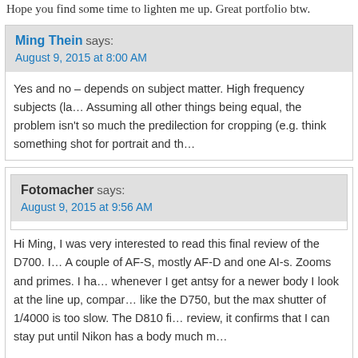Hope you find some time to lighten me up. Great portfolio btw.
Ming Thein says:
August 9, 2015 at 8:00 AM
Yes and no – depends on subject matter. High frequency subjects (la... Assuming all other things being equal, the problem isn't so much the predilection for cropping (e.g. think something shot for portrait and th...
Fotomacher says:
August 9, 2015 at 9:56 AM
Hi Ming, I was very interested to read this final review of the D700. I... A couple of AF-S, mostly AF-D and one AI-s. Zooms and primes. I ha... whenever I get antsy for a newer body I look at the line up, compar... like the D750, but the max shutter of 1/4000 is too slow. The D810 fi... review, it confirms that I can stay put until Nikon has a body much m...
Jerry @ Paskowitz, Fotomacher Member, Royal Photographic Society...
>